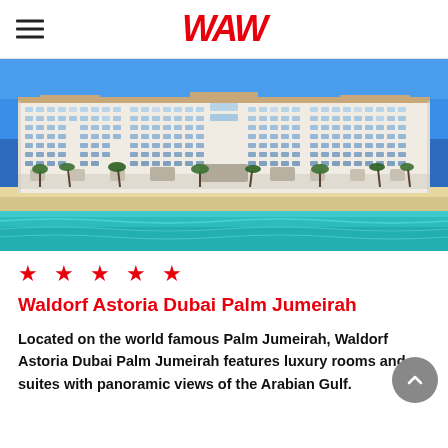WAW
[Figure (photo): Aerial/beach-level view of Waldorf Astoria Dubai Palm Jumeirah hotel, a large white multi-storey resort building along a sandy beach with turquoise water in the foreground and blue sky above.]
★ ★ ★ ★ ★
Waldorf Astoria Dubai Palm Jumeirah
Located on the world famous Palm Jumeirah, Waldorf Astoria Dubai Palm Jumeirah features luxury rooms and suites with panoramic views of the Arabian Gulf.